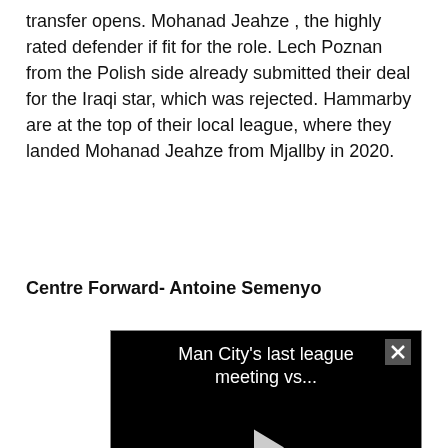transfer opens. Mohanad Jeahze , the highly rated defender if fit for the role. Lech Poznan from the Polish side already submitted their deal for the Iraqi star, which was rejected. Hammarby are at the top of their local league, where they landed Mohanad Jeahze from Mjallby in 2020.
Centre Forward- Antoine Semenyo
[Figure (screenshot): Embedded video player with black background showing title 'Man City's last league meeting vs...' with a play button in the center and a close button (x) in the top right corner.]